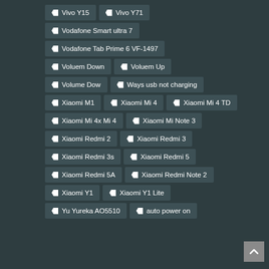Vivo Y15
Vivo Y71
Vodafone Smart ultra 7
Vodafone Tab Prime 6 VF-1497
Voluem Down
Voluem Up
Volume Dow
Ways usb not charging
Xiaomi M1
Xiaomi Mi 4
Xiaomi Mi 4 TD
Xiaomi Mi 4x Mi 4
Xiaomi Mi Note 3
Xiaomi Redmi 2
Xiaomi Redmi 3
Xiaomi Redmi 3s
Xiaomi Redmi 5
Xiaomi Redmi 5A
Xiaomi Redmi Note 2
Xiaomi Y1
Xiaomi Y1 Lite
Yu Yureka AO5510
auto power on